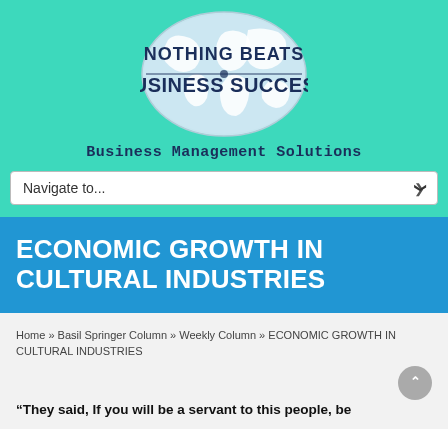[Figure (logo): Nothing Beats Business Success logo - oval shape with world map background, white text reading NOTHING BEATS BUSINESS SUCCESS in dark navy blue]
Business Management Solutions
Navigate to...
ECONOMIC GROWTH IN CULTURAL INDUSTRIES
Home » Basil Springer Column » Weekly Column » ECONOMIC GROWTH IN CULTURAL INDUSTRIES
“They said, If you will be a servant to this people, be